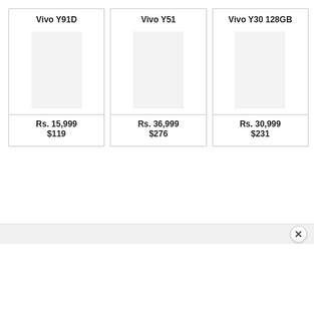Vivo Y91D
[Figure (photo): Product image placeholder for Vivo Y91D smartphone]
Rs. 15,999
$119
Vivo Y51
[Figure (photo): Product image placeholder for Vivo Y51 smartphone]
Rs. 36,999
$276
Vivo Y30 128GB
[Figure (photo): Product image placeholder for Vivo Y30 128GB smartphone]
Rs. 30,999
$231